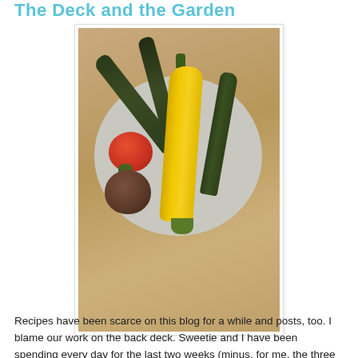The Deck and the Garden
[Figure (photo): A wooden cutting board with a plate holding garden vegetables: several dark green zucchini, one large yellow summer squash, a red heirloom tomato, and a dark heirloom tomato.]
Recipes have been scarce on this blog for a while and posts, too. I blame our work on the back deck. Sweetie and I have been spending every day for the last two weeks (minus, for me, the three days last weekend when I was in LA) taking